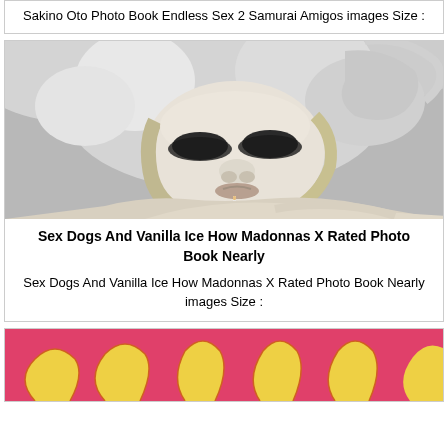Sakino Oto Photo Book Endless Sex 2 Samurai Amigos images Size :
[Figure (photo): Black and white photo of a blonde woman with dramatic eye makeup and a cigarette, lying back with curly hair spread out]
Sex Dogs And Vanilla Ice How Madonnas X Rated Photo Book Nearly
Sex Dogs And Vanilla Ice How Madonnas X Rated Photo Book Nearly images Size :
[Figure (photo): Colorful image with pink/magenta background and yellow teardrop or petal shapes]